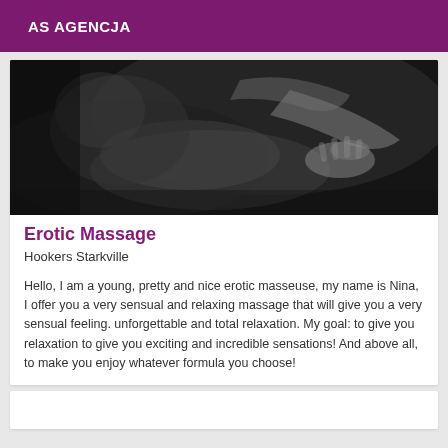AS AGENCJA
[Figure (photo): Black and white photograph of a massage scene, showing hands on a person's back in an erotic/sensual context.]
Erotic Massage
Hookers Starkville
Hello, I am a young, pretty and nice erotic masseuse, my name is Nina, I offer you a very sensual and relaxing massage that will give you a very sensual feeling. unforgettable and total relaxation. My goal: to give you relaxation to give you exciting and incredible sensations! And above all, to make you enjoy whatever formula you choose!